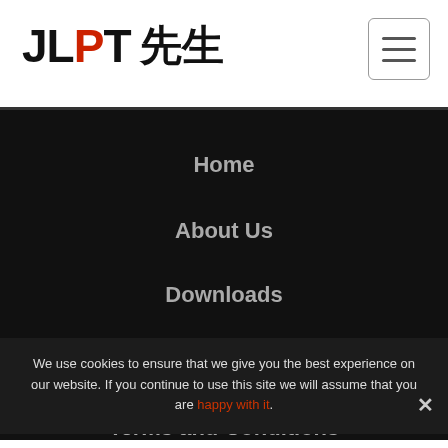JLPT 先生
Home
About Us
Downloads
ebooks
Privacy Policy
Terms and Conditions
We use cookies to ensure that we give you the best experience on our website. If you continue to use this site we will assume that you are happy with it.